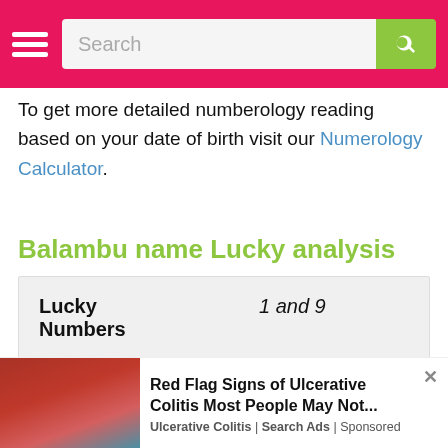Search
To get more detailed numberology reading based on your date of birth visit our Numerology Calculator.
Balambu name Lucky analysis
| Lucky Numbers | 1 and 9 |
Red Flag Signs of Ulcerative Colitis Most People May Not... Ulcerative Colitis | Search Ads | Sponsored